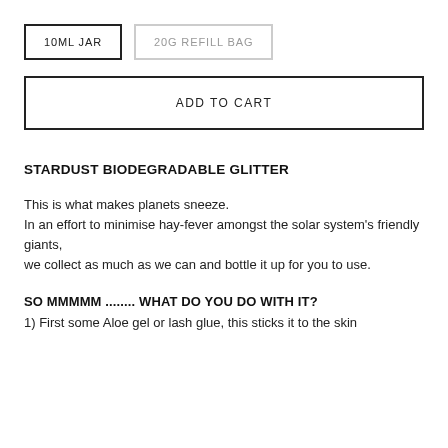10ML JAR
20G REFILL BAG
ADD TO CART
STARDUST BIODEGRADABLE GLITTER
This is what makes planets sneeze.
In an effort to minimise hay-fever amongst the solar system's friendly giants,
we collect as much as we can and bottle it up for you to use.
SO MMMMM ........ WHAT DO YOU DO WITH IT?
1) First some Aloe gel or lash glue, this sticks it to the skin